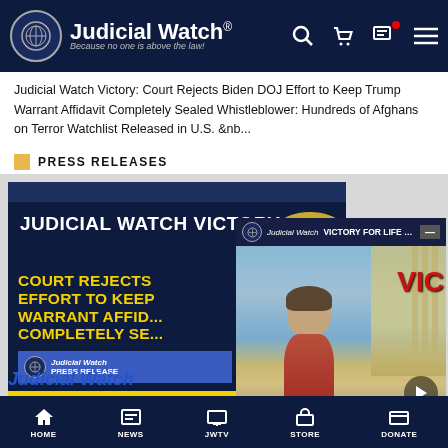[Figure (screenshot): Judicial Watch website navigation bar with logo, search, cart, notification, and menu icons on dark navy background]
Judicial Watch Victory: Court Rejects Biden DOJ Effort to Keep Trump Warrant Affidavit Completely Sealed Whistleblower: Hundreds of Afghans on Terror Watchlist Released in U.S. &nb...
PRESS RELEASES
[Figure (screenshot): Press release card showing 'JUDICIAL WATCH VICTORY:' headline on dark navy background with partial DOJ seal visible]
[Figure (screenshot): Overlapping press release image with yellow text 'COURT REJECTS EFFORT TO KEEP WARRANT AFFIDAVIT COMPLETELY SEALED' and Judicial Watch Press Release badge]
[Figure (screenshot): Video overlay showing Judicial Watch channel with title 'VICTORY FOR LIFE -- Roe v. Wa...' with man standing in front of Supreme Court, red 'VIC' text visible, play button, minimize button]
Judicial Watch
HOME  NEWS  JWTV  STORE  DONATE